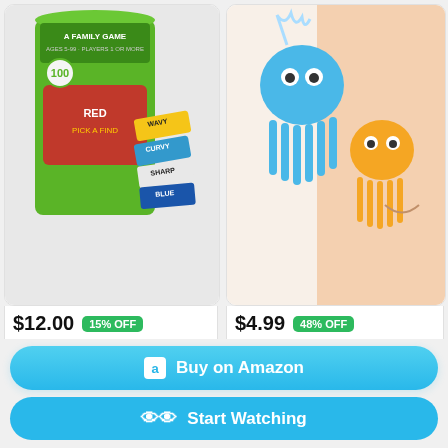[Figure (photo): Chalk and Chuckles Smart Sticks Scavenger Hunt Game product image]
[Figure (photo): Octopus Bath Toys for Toddlers product image with child in bathtub]
$12.00 15% OFF
Chalk and Chuckles Smart Sticks Scavenger Hunt Game for Kids 5+...
$4.99 48% OFF
Octopus Bath Toys for Toddlers,Cute Animal Floating Bathtub Water...
[Figure (photo): Swirl Spinner Metallic art product image]
[Figure (photo): Monster/creature miniature figurine product image]
Buy on Amazon
Start Watching